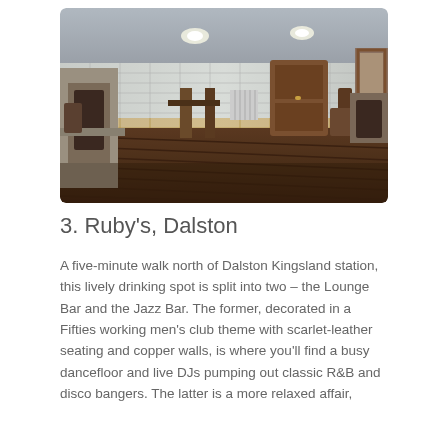[Figure (photo): Interior photograph of a bar/pub space showing a wide room with wooden floorboards, brick walls with white tiles on the upper half and ochre/brown tiles on the lower half. There are wooden chairs, a fireplace on the left, a radiator in the background, a wooden door in the center background, and a decorative framed mirror on the right. Overhead lighting illuminates the space.]
3. Ruby's, Dalston
A five-minute walk north of Dalston Kingsland station, this lively drinking spot is split into two – the Lounge Bar and the Jazz Bar. The former, decorated in a Fifties working men's club theme with scarlet-leather seating and copper walls, is where you'll find a busy dancefloor and live DJs pumping out classic R&B and disco bangers. The latter is a more relaxed affair,